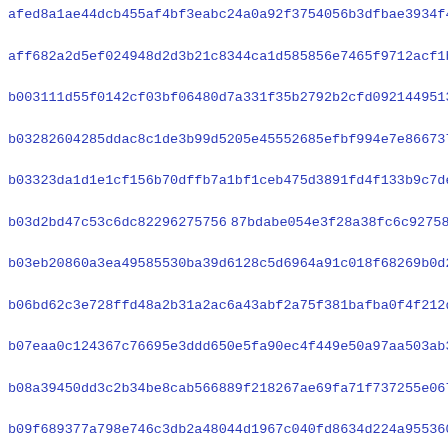afed8a1ae44dcb455af4bf3eabc24a0a92f3754056b3dfbae3934f46aa9cb
aff682a2d5ef024948d2d3b21c8344ca1d585856e7465f9712acf1ba9ff2b
b003111d55f0142cf03bf06480d7a331f35b2792b2cfd0921449513a10b47
b03282604285ddac8c1de3b99d5205e45552685efbf994e7e866737fdaea6f
b03323da1d1e1cf156b70dffb7a1bf1ceb475d3891fd4f133b9c7de6f7857
b03d2bd47c53c6dc82296275756 87bdabe054e3f28a38fc6c927580193372
b03eb20860a3ea49585530ba39d6128c5d6964a91c018f68269b0d237f51e
b06bd62c3e728ffd48a2b31a2ac6a43abf2a75f381bafba0f4f212d746e3a
b07eaa0c124367c76695e3ddd650e5fa90ec4f449e50a97aa503ab342817c
b08a39450dd3c2b34be8cab566889f218267ae69fa71f737255e067a3effd
b09f689377a798e746c3db2a48044d1967c040fd8634d224a95536072ebef